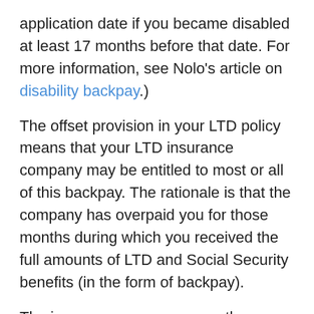application date if you became disabled at least 17 months before that date. For more information, see Nolo's article on disability backpay.)
The offset provision in your LTD policy means that your LTD insurance company may be entitled to most or all of this backpay. The rationale is that the company has overpaid you for those months during which you received the full amounts of LTD and Social Security benefits (in the form of backpay).
The insurance company uses the Notice of Award you receive from Social Security to calculate the overpayment. The overpayment is generally the amount of backpay you received minus attorneys' fees (see below). Be sure to double-check the insurance company's math, because mistakes do